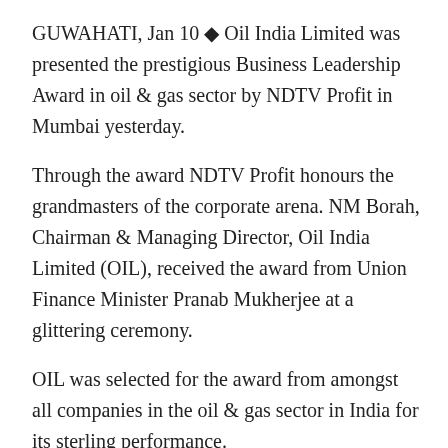GUWAHATI, Jan 10 ◆ Oil India Limited was presented the prestigious Business Leadership Award in oil & gas sector by NDTV Profit in Mumbai yesterday.
Through the award NDTV Profit honours the grandmasters of the corporate arena. NM Borah, Chairman & Managing Director, Oil India Limited (OIL), received the award from Union Finance Minister Pranab Mukherjee at a glittering ceremony.
OIL was selected for the award from amongst all companies in the oil & gas sector in India for its sterling performance.
All the top industrialists of the country were present at the function, Tridib Duvarah, Dy Manager (PR &